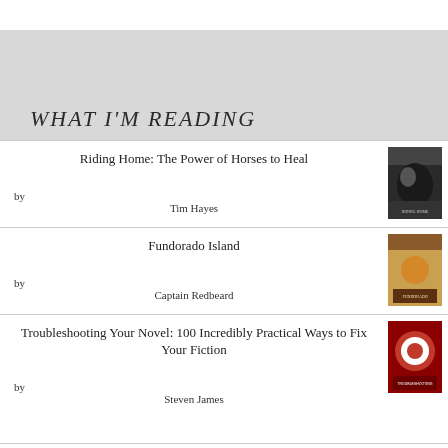WHAT I'M READING
Riding Home: The Power of Horses to Heal by Tim Hayes
Fundorado Island by Captain Redbeard
Troubleshooting Your Novel: 100 Incredibly Practical Ways to Fix Your Fiction by Steven James